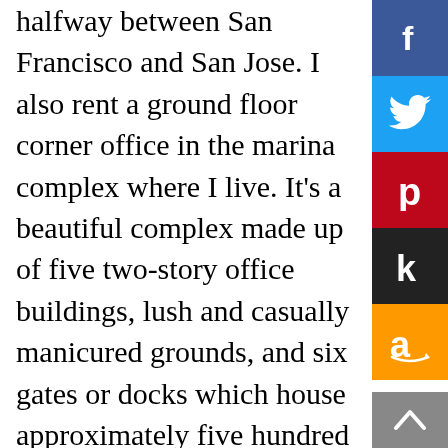halfway between San Francisco and San Jose. I also rent a ground floor corner office in the marina complex where I live. It's a beautiful complex made up of five two-story office buildings, lush and casually manicured grounds, and six gates or docks which house approximately five hundred yachts. More than half of the yachts are owned by individuals and families who choose to live aboard, as I do.

I'm thirty-six years old and five foot seven in my bare feet. I have long, curly, chestnut brown hair and dark blue eyes. I've been married and divorced three times and I have no children, but I do
[Figure (other): Social media sharing buttons: Facebook (blue), Twitter (blue), Pinterest (red), Klout (dark/black), Amazon (orange)]
[Figure (other): Back to top button, grey background with upward chevron arrow]